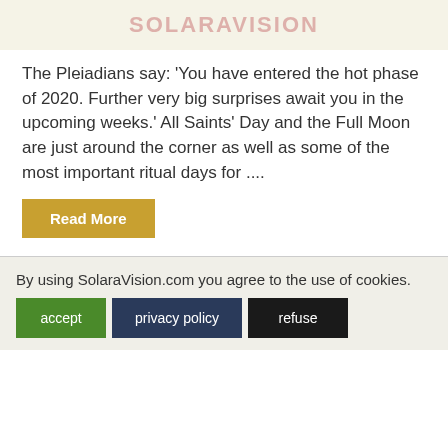SOLARAVISION
The Pleiadians say: 'You have entered the hot phase of 2020. Further very big surprises await you in the upcoming weeks.' All Saints' Day and the Full Moon are just around the corner as well as some of the most important ritual days for ....
Read More
By using SolaraVision.com you agree to the use of cookies.
accept | privacy policy | refuse